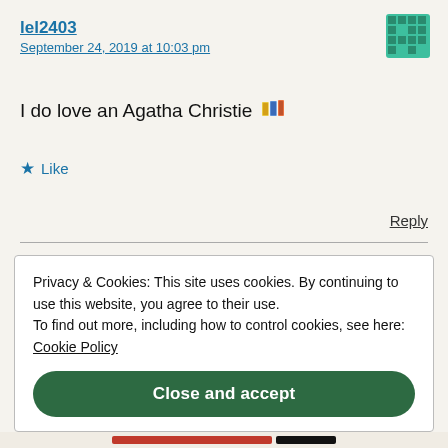lel2403
September 24, 2019 at 10:03 pm
I do love an Agatha Christie 📚
★ Like
Reply
Privacy & Cookies: This site uses cookies. By continuing to use this website, you agree to their use.
To find out more, including how to control cookies, see here: Cookie Policy
Close and accept